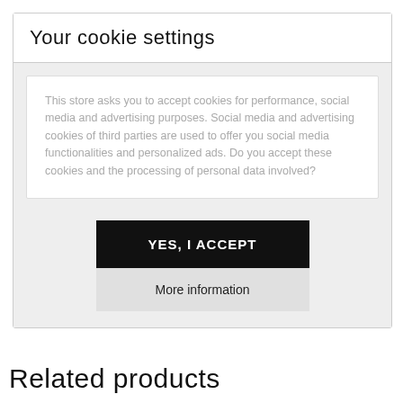Your cookie settings
This store asks you to accept cookies for performance, social media and advertising purposes. Social media and advertising cookies of third parties are used to offer you social media functionalities and personalized ads. Do you accept these cookies and the processing of personal data involved?
YES, I ACCEPT
More information
Related products